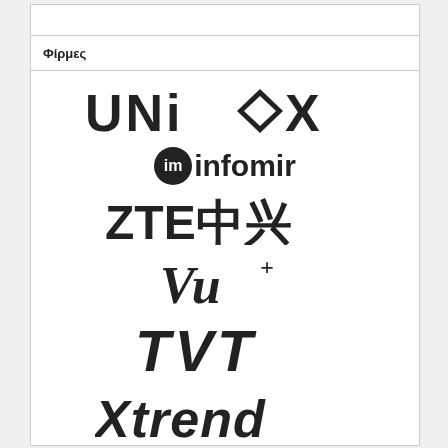Φίρμες
[Figure (logo): UNIBOX logo in bold black uppercase letters with a diamond shape replacing the 'O']
[Figure (logo): infomir logo with a dark circle containing 'im' and the word 'infomir' in bold]
[Figure (logo): ZTE中兴 logo in bold black letters]
[Figure (logo): Vu+ logo in bold italic serif font]
[Figure (logo): TVT logo in bold italic black letters]
[Figure (logo): Xtrend logo in bold italic black letters]